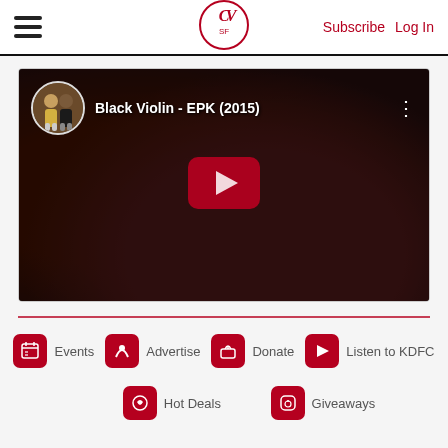CV SF — Subscribe  Log In
[Figure (screenshot): YouTube video embed showing 'Black Violin - EPK (2015)' with dark background of violin/instrument close-up, YouTube play button overlay, and channel avatar with two musicians in top-left corner.]
Events
Advertise
Donate
Listen to KDFC
Hot Deals
Giveaways